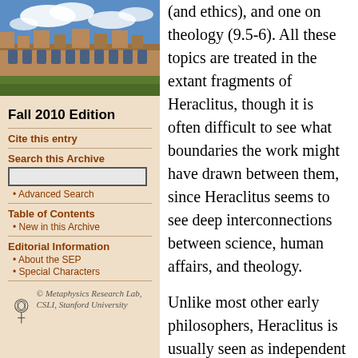[Figure (photo): Photograph of a university building (sandstone Gothic architecture) with blue sky and clouds]
Fall 2010 Edition
Cite this entry
Search this Archive
Advanced Search
Table of Contents
New in this Archive
Editorial Information
About the SEP
Special Characters
© Metaphysics Research Lab, CSLI, Stanford University
(and ethics), and one on theology (9.5-6). All these topics are treated in the extant fragments of Heraclitus, though it is often difficult to see what boundaries the work might have drawn between them, since Heraclitus seems to see deep interconnections between science, human affairs, and theology.
Unlike most other early philosophers, Heraclitus is usually seen as independent of the several schools and movements later students (somewhat anachronistically) assigned to the ancients, and he himself implies that he is self-